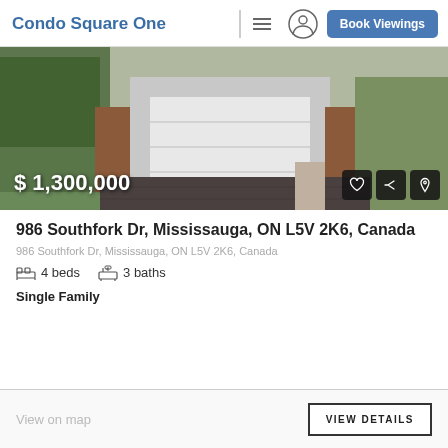Condo Square One
[Figure (photo): Exterior photo of a residential house with a white garage door, brick facade, conifer trees on the left, and a driveway; price overlay $1,300,000 shown at bottom left with heart, share, and pin action icons at bottom right]
986 Southfork Dr, Mississauga, ON L5V 2K6, Canada
986 Southfork Dr, Mississauga, ON L5V 2K6, Canada
4 beds   3 baths
Single Family
View on map
VIEW DETAILS